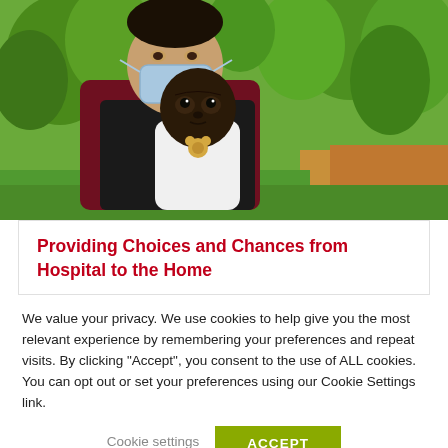[Figure (photo): A person wearing a medical mask and dark apron/sling holds a baby dressed in white, photographed outdoors with lush green trees and grass in the background.]
Providing Choices and Chances from Hospital to the Home
We value your privacy. We use cookies to help give you the most relevant experience by remembering your preferences and repeat visits. By clicking "Accept", you consent to the use of ALL cookies. You can opt out or set your preferences using our Cookie Settings link.